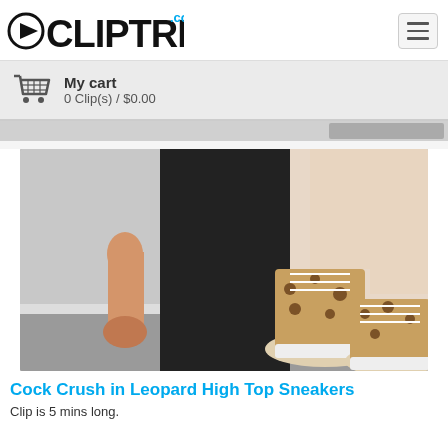CLIPTRESS.com
My cart
0 Clip(s) / $0.00
[Figure (screenshot): Screenshot of a video clip thumbnail showing leopard print high top sneakers near a sex toy on a gray floor]
Cock Crush in Leopard High Top Sneakers
Clip is 5 mins long.